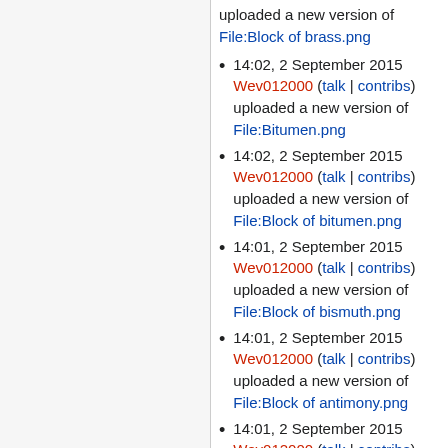uploaded a new version of File:Block of brass.png
14:02, 2 September 2015 Wev012000 (talk | contribs) uploaded a new version of File:Bitumen.png
14:02, 2 September 2015 Wev012000 (talk | contribs) uploaded a new version of File:Block of bitumen.png
14:01, 2 September 2015 Wev012000 (talk | contribs) uploaded a new version of File:Block of bismuth.png
14:01, 2 September 2015 Wev012000 (talk | contribs) uploaded a new version of File:Block of antimony.png
14:01, 2 September 2015 Wev012000 (talk | contribs)